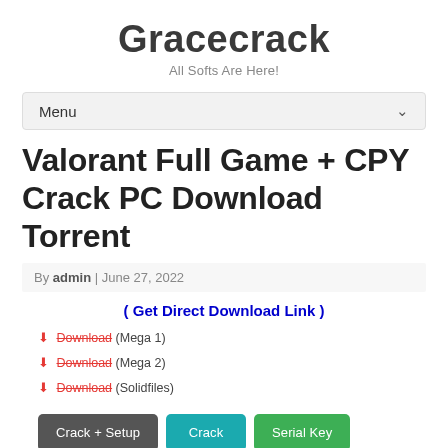Gracecrack
All Softs Are Here!
Menu
Valorant Full Game + CPY Crack PC Download Torrent
By admin | June 27, 2022
( Get Direct Download Link )
Download (Mega 1)
Download (Mega 2)
Download (Solidfiles)
Crack + Setup | Crack | Serial Key